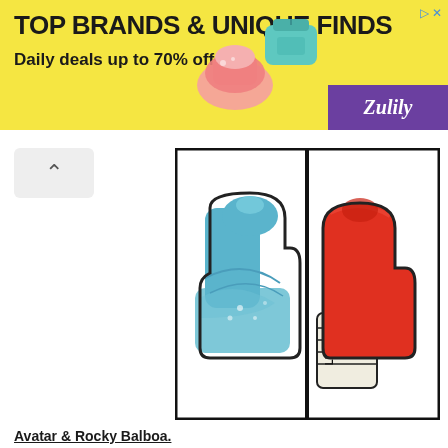[Figure (other): Advertisement banner: yellow background, 'TOP BRANDS & UNIQUE FINDS / Daily deals up to 70% off' text, shoes and bag images, Zulily purple logo, close button top right]
[Figure (illustration): Two thumbs-up icons side by side in a bordered frame. Left thumb is blue/teal (Avatar style), right thumb is red with 'LIKE IT' text on the sleeve (Rocky Balboa style).]
Avatar & Rocky Balboa.
Press the Image to Enlarge it.
[Figure (other): Gray advertisement placeholder block]
3 comments:
Anonymous 8/29/2014